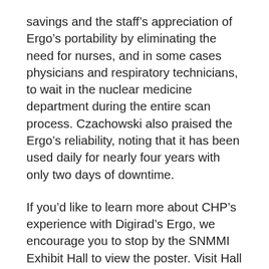savings and the staff's appreciation of Ergo's portability by eliminating the need for nurses, and in some cases physicians and respiratory technicians, to wait in the nuclear medicine department during the entire scan process. Czachowski also praised the Ergo's reliability, noting that it has been used daily for nearly four years with only two days of downtime.
If you'd like to learn more about CHP's experience with Digirad's Ergo, we encourage you to stop by the SNMMI Exhibit Hall to view the poster. Visit Hall 5 to see the full poster published under Abstract No. 2653, and meet the authors Monday, June 9 between 3:00pm and 4:30pm. Click here to read the abstract online.